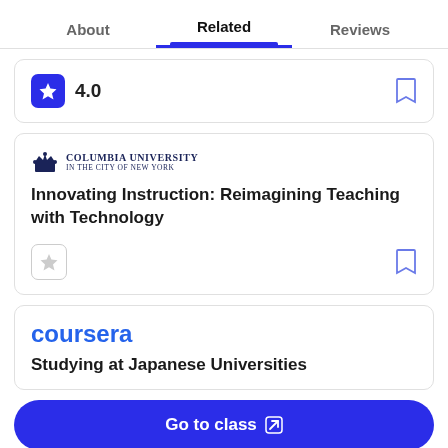About | Related | Reviews
4.0
[Figure (screenshot): Columbia University logo with crown icon]
Innovating Instruction: Reimagining Teaching with Technology
[Figure (logo): Coursera logo in blue]
Studying at Japanese Universities
Go to class